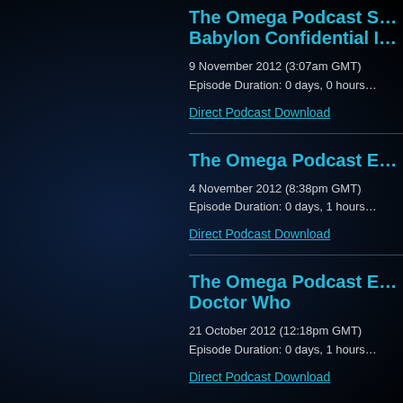The Omega Podcast S… Babylon Confidential I…
9 November 2012 (3:07am GMT)
Episode Duration: 0 days, 0 hours…
Direct Podcast Download
The Omega Podcast E…
4 November 2012 (8:38pm GMT)
Episode Duration: 0 days, 1 hours…
Direct Podcast Download
The Omega Podcast E… Doctor Who
21 October 2012 (12:18pm GMT)
Episode Duration: 0 days, 1 hours…
Direct Podcast Download